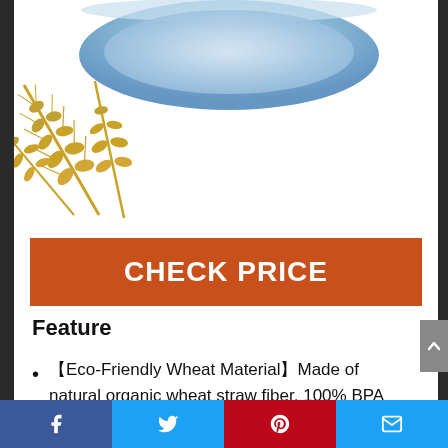[Figure (photo): Blue bowl and wheat straw product image at top of page]
CHECK PRICE
Feature
【Eco-Friendly Wheat Material】Made of natural organic wheat straw fiber, 100% BPA free, non-toxic, odorless and environmentally friendly. No plastics and harmful chemical materials. Very healthy
Facebook | Twitter | Pinterest | Email social sharing bar